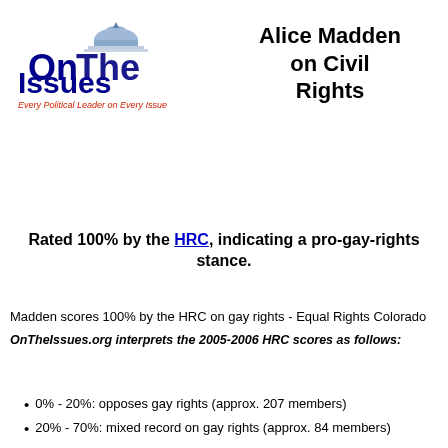[Figure (logo): OnTheIssues logo with dome icon and tagline 'Every Political Leader on Every Issue']
Alice Madden on Civil Rights
Rated 100% by the HRC, indicating a pro-gay-rights stance.
Madden scores 100% by the HRC on gay rights - Equal Rights Colorado
OnTheIssues.org interprets the 2005-2006 HRC scores as follows:
0% - 20%: opposes gay rights (approx. 207 members)
20% - 70%: mixed record on gay rights (approx. 84 members)